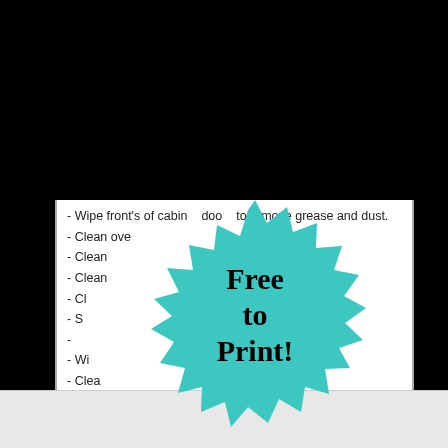- Wipe front's of cabinet doors to remove grease and dust.
- Clean ove...
- Clean...
- Clean...
- Cl...
- S...
- Wi...
- Clea...
- Clean...
- Wash win... ...ents.
- Vacuum/ Wash... ...a.
- Wash floors, vents and baseboards.
- Vacuum floors, vents and baseboards.
[Figure (illustration): Teal starburst badge with text 'Free to Print!' in bold black serif font]